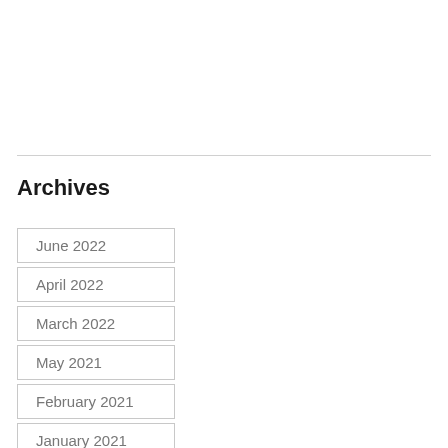Archives
June 2022
April 2022
March 2022
May 2021
February 2021
January 2021
December 2020